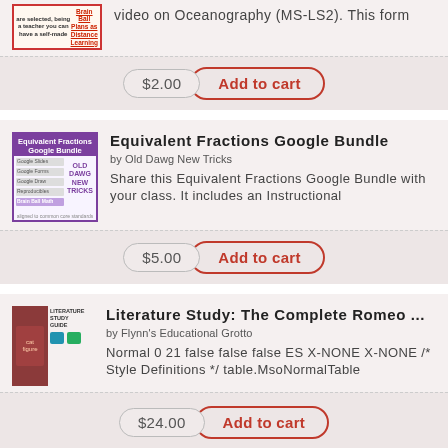[Figure (other): Partial product thumbnail image with red border, showing text about 'Brain Ball Plans as Distance Learning']
video on Oceanography (MS-LS2). This form
$2.00
Add to cart
Equivalent Fractions Google Bundle
by Old Dawg New Tricks
[Figure (other): Purple-bordered book cover for Equivalent Fractions Google Bundle by Old Dawg New Tricks with document thumbnails]
Share this Equivalent Fractions Google Bundle with your class. It includes an Instructional
$5.00
Add to cart
Literature Study: The Complete Romeo ...
by Flynn's Educational Grotto
[Figure (other): Thumbnail showing Romeo and Juliet literature study guide with cat image and teal icons]
Normal 0 21 false false false ES X-NONE X-NONE /* Style Definitions */ table.MsoNormalTable
$24.00
Add to cart